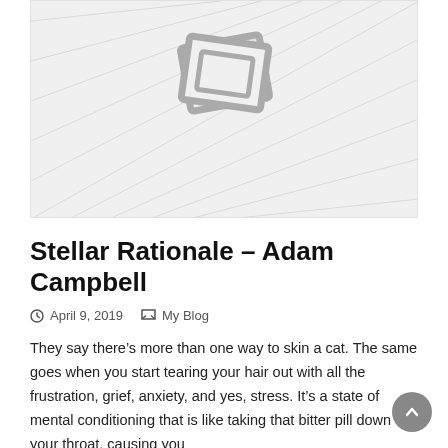[Figure (photo): Image placeholder with two overlapping rotated photo frame icons on a light gray background with diagonal line pattern]
Stellar Rationale – Adam Campbell
April 9, 2019   My Blog
They say there’s more than one way to skin a cat. The same goes when you start tearing your hair out with all the frustration, grief, anxiety, and yes, stress. It’s a state of mental conditioning that is like taking that bitter pill down your throat, causing you